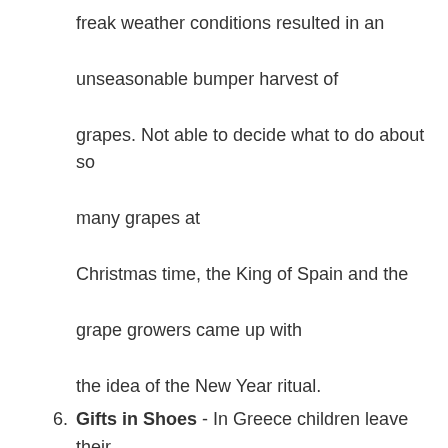freak weather conditions resulted in an unseasonable bumper harvest of grapes. Not able to decide what to do about so many grapes at Christmas time, the King of Spain and the grape growers came up with the idea of the New Year ritual.
6. Gifts in Shoes - In Greece children leave their shoes by the fireside on New Year's Day, which, incidentally, is also the Festival of Saint Basil in Greece, with the hope that Saint Basil, who was famous for his kindness, will come and fill their shoes with gifts.